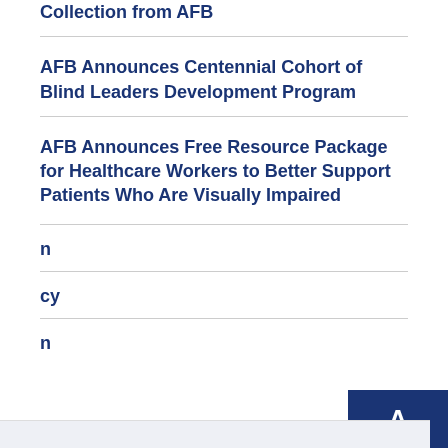Collection from AFB
AFB Announces Centennial Cohort of Blind Leaders Development Program
AFB Announces Free Resource Package for Healthcare Workers to Better Support Patients Who Are Visually Impaired
We use cookies to give you the best experience on our website. To learn more about our privacy practices, and how to change your cookie settings, visit our Privacy Policy.
I Understand
of Work'